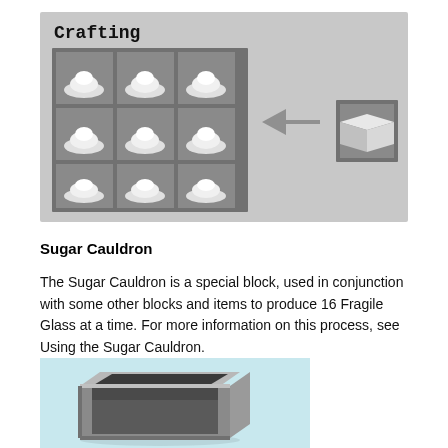[Figure (screenshot): Minecraft crafting table UI showing 9 sugar (white powder/pile items) arranged in a 3x3 grid, with an arrow pointing to the resulting block (Fragile Glass block) on the right. Background is light gray.]
Sugar Cauldron
The Sugar Cauldron is a special block, used in conjunction with some other blocks and items to produce 16 Fragile Glass at a time. For more information on this process, see Using the Sugar Cauldron.
[Figure (screenshot): A 3D rendered image of a gray stone/concrete cauldron block (open-top hollow cube shape) on a light blue background, in Minecraft style.]